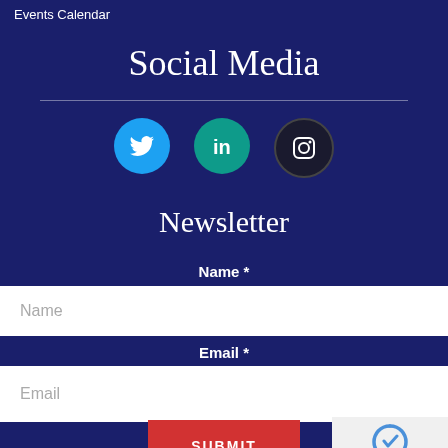Events Calendar
Social Media
[Figure (illustration): Three social media icon circles: Twitter (blue bird icon), LinkedIn (teal 'in' icon), Instagram (dark circle with camera outline icon)]
Newsletter
Name *
Name
Email *
Email
SUBMIT